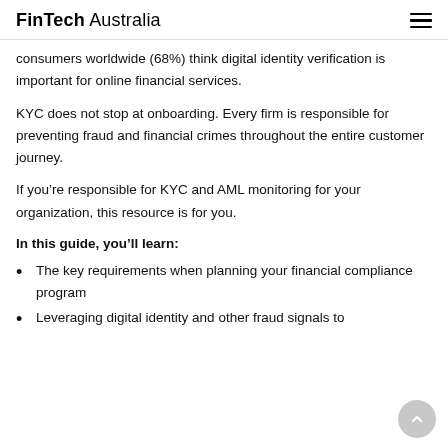FinTech Australia
consumers worldwide (68%) think digital identity verification is important for online financial services.
KYC does not stop at onboarding. Every firm is responsible for preventing fraud and financial crimes throughout the entire customer journey.
If you’re responsible for KYC and AML monitoring for your organization, this resource is for you.
In this guide, you’ll learn:
The key requirements when planning your financial compliance program
Leveraging digital identity and other fraud signals to